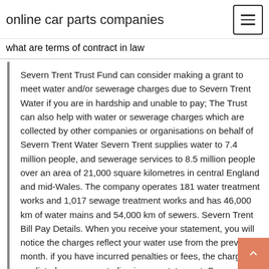online car parts companies
what are terms of contract in law
Severn Trent Trust Fund can consider making a grant to meet water and/or sewerage charges due to Severn Trent Water if you are in hardship and unable to pay; The Trust can also help with water or sewerage charges which are collected by other companies or organisations on behalf of Severn Trent Water Severn Trent supplies water to 7.4 million people, and sewerage services to 8.5 million people over an area of 21,000 square kilometres in central England and mid-Wales. The company operates 181 water treatment works and 1,017 sewage treatment works and has 46,000 km of water mains and 54,000 km of sewers. Severn Trent Bill Pay Details. When you receive your statement, you will notice the charges reflect your water use from the previous month. if you have incurred penalties or fees, the charges are listed on a separate line in your statement. Severn Trent Water Live Chat is open for the following hours . Mon- Fri 8am – 9pm & Sat 8:30am – 5:30pm